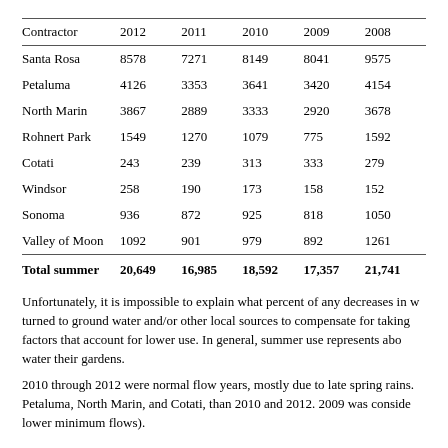| Contractor | 2012 | 2011 | 2010 | 2009 | 2008 |
| --- | --- | --- | --- | --- | --- |
| Santa Rosa | 8578 | 7271 | 8149 | 8041 | 9575 |
| Petaluma | 4126 | 3353 | 3641 | 3420 | 4154 |
| North Marin | 3867 | 2889 | 3333 | 2920 | 3678 |
| Rohnert Park | 1549 | 1270 | 1079 | 775 | 1592 |
| Cotati | 243 | 239 | 313 | 333 | 279 |
| Windsor | 258 | 190 | 173 | 158 | 152 |
| Sonoma | 936 | 872 | 925 | 818 | 1050 |
| Valley of Moon | 1092 | 901 | 979 | 892 | 1261 |
| Total summer | 20,649 | 16,985 | 18,592 | 17,357 | 21,741 |
Unfortunately, it is impossible to explain what percent of any decreases in water use turned to ground water and/or other local sources to compensate for taking less, versus factors that account for lower use. In general, summer use represents about water their gardens.
2010 through 2012 were normal flow years, mostly due to late spring rains. Petaluma, North Marin, and Cotati, than 2010 and 2012. 2009 was considered lower minimum flows).